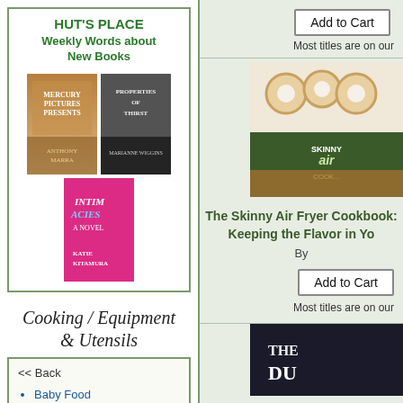HUT'S PLACE
Weekly Words about New Books
[Figure (photo): Three book covers: Mercury Pictures Presents by Anthony Marra, Properties of Thirst by Marianne Wiggins, and Intimacies: A Novel by Katie Kitamura]
Cooking / Equipment & Utensils
<< Back
Baby Food
Beverages
Comfort Food
Cooking for Kids
[Figure (photo): Add to Cart button and Most titles are on our text - top right product]
[Figure (photo): The Skinny Air Fryer Cookbook product image showing donuts and fried chicken]
The Skinny Air Fryer Cookbook: Keeping the Flavor in Yo
By
[Figure (photo): Add to Cart button - second product]
Most titles are on our
[Figure (photo): Partial book cover - THE DU... (third product, partially visible)]